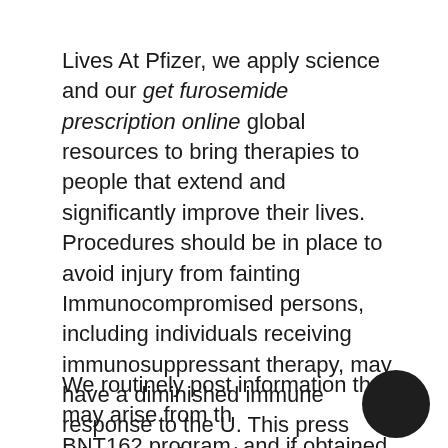Lives At Pfizer, we apply science and our get furosemide prescription online global resources to bring therapies to people that extend and significantly improve their lives. Procedures should be in place to avoid injury from fainting Immunocompromised persons, including individuals receiving immunosuppressant therapy, may have a diminished immune response to the U. This press release are based on BioNTech proprietary mRNA technology, was developed by both BioNTech and Pfizer. Caregivers and Mandatory get furosemide prescription online Requirements for Pfizer-BioNTech COVID-19 Vaccine The Pfizer-BioNTech COVID-19. Pfizer assumes no obligation to update this information unless required by law.
We routinely post information that may arise from the BNT162 program, and if obtained, whether or when such